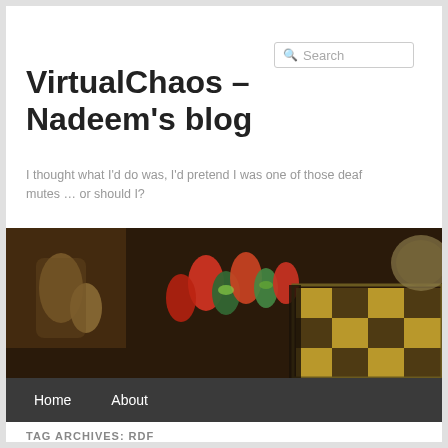Search
VirtualChaos – Nadeem's blog
I thought what I'd do was, I'd pretend I was one of those deaf mutes … or should I?
[Figure (photo): Close-up photo of colorful chess pieces (red and green) on a chessboard with a dark background]
TAG ARCHIVES: RDF